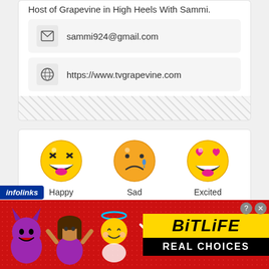Host of Grapevine in High Heels With Sammi.
sammi924@gmail.com
https://www.tvgrapevine.com
[Figure (infographic): Three emoji reaction buttons labeled Happy, Sad, and Excited, each showing 0%]
[Figure (infographic): Advertisement banner for BitLife game with emoji characters and text REAL CHOICES on red background]